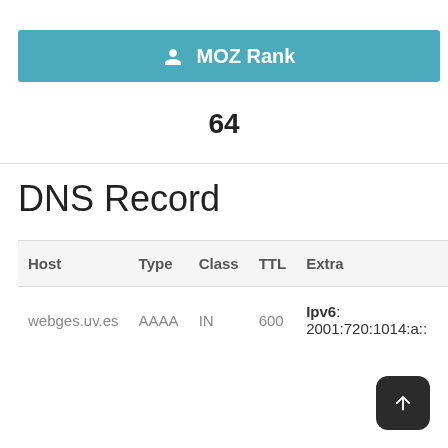MOZ Rank
64
DNS Record
| Host | Type | Class | TTL | Extra |
| --- | --- | --- | --- | --- |
| webges.uv.es | AAAA | IN | 600 | Ipv6: 2001:720:1014:a:: |